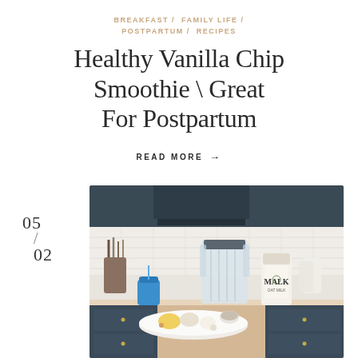BREAKFAST / FAMILY LIFE / POSTPARTUM / RECIPES
Healthy Vanilla Chip Smoothie \ Great For Postpartum
READ MORE →
05/02
[Figure (photo): Kitchen counter scene with a glass blender, a bottle of MALK oat milk, a blue children's cup, a white plate with smoothie ingredients including fruit and seeds, set against navy blue kitchen cabinets with gold hardware and white subway tile backsplash.]